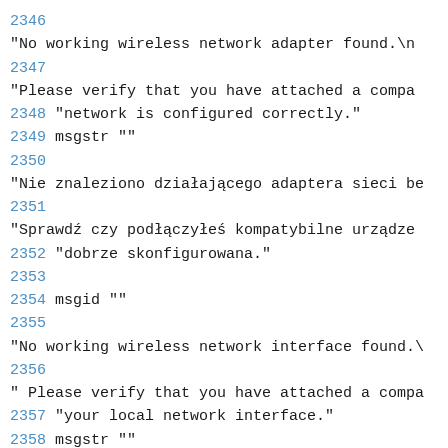2346
"No working wireless network adapter found.\n
2347
"Please verify that you have attached a compa
2348 "network is configured correctly."
2349 msgstr ""
2350
"Nie znaleziono działającego adaptera sieci be
2351
"Sprawdź czy podłączyłeś kompatybilne urządze
2352 "dobrze skonfigurowana."
2353
2354 msgid ""
2355
"No working wireless network interface found.\
2356
" Please verify that you have attached a compa
2357 "your local network interface."
2358 msgstr ""
2359